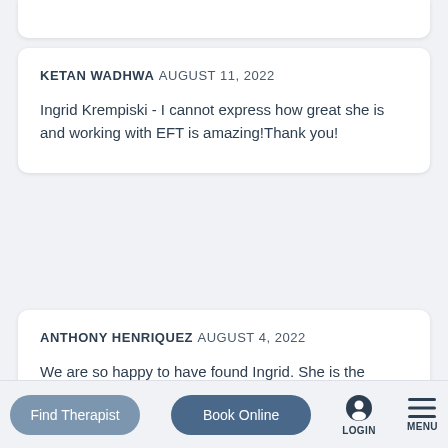KETAN WADHWA AUGUST 11, 2022
Ingrid Krempiski - I cannot express how great she is and working with EFT is amazing!Thank you!
ANTHONY HENRIQUEZ AUGUST 4, 2022
We are so happy to have found Ingrid. She is the counselor we needed in our relationship. She has
Find Therapist
Book Online
LOGIN
MENU